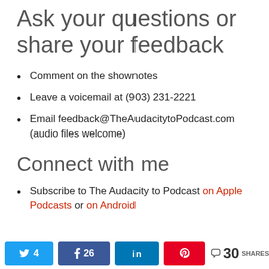Ask your questions or share your feedback
Comment on the shownotes
Leave a voicemail at (903) 231-2221
Email feedback@TheAudacitytoPodcast.com (audio files welcome)
Connect with me
Subscribe to The Audacity to Podcast on Apple Podcasts or on Android